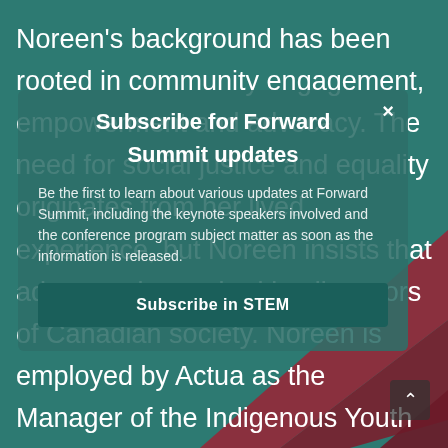[Figure (illustration): Teal/dark green background with red/maroon chevron decorative shapes at the bottom right]
Noreen's background has been rooted in community engagement, empowerment and advocacy. The need for social justice and equality originates from her lived experience, but Noreen insists that advocacy is required in all sectors of Canadian society. Noreen is employed by Actua as the Manager of the Indigenous Youth in STEM (InSTEM) Program. In her role with Actua, Noreen is motivated to assist and strategically engage Indigenous youth in STEM. She liaises directly with both rural and urban community partners and network member programs, ensuring that they have the support they need to meet the unique needs and interests of Indigenous Science, Technology, Engineering and Math
[Figure (screenshot): Modal dialog overlay with title 'Subscribe for Forward Summit updates', body text about being first to learn about updates at Forward Summit, and a 'Subscribe in STEM' button]